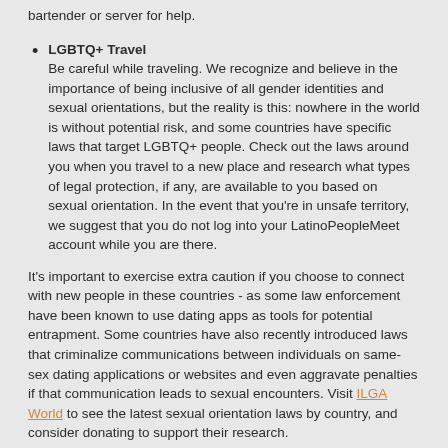bartender or server for help.
LGBTQ+ Travel
Be careful while traveling. We recognize and believe in the importance of being inclusive of all gender identities and sexual orientations, but the reality is this: nowhere in the world is without potential risk, and some countries have specific laws that target LGBTQ+ people. Check out the laws around you when you travel to a new place and research what types of legal protection, if any, are available to you based on sexual orientation. In the event that you're in unsafe territory, we suggest that you do not log into your LatinoPeopleMeet account while you are there.
It's important to exercise extra caution if you choose to connect with new people in these countries - as some law enforcement have been known to use dating apps as tools for potential entrapment. Some countries have also recently introduced laws that criminalize communications between individuals on same-sex dating applications or websites and even aggravate penalties if that communication leads to sexual encounters. Visit ILGA World to see the latest sexual orientation laws by country, and consider donating to support their research.